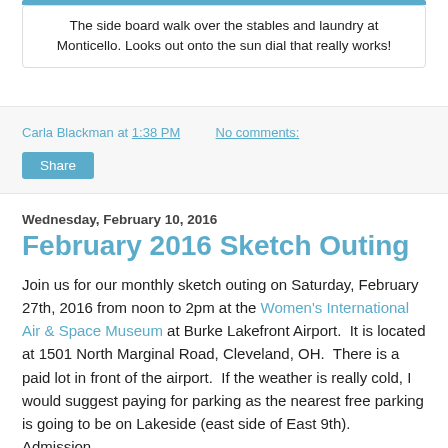The side board walk over the stables and laundry at Monticello. Looks out onto the sun dial that really works!
Carla Blackman at 1:38 PM   No comments:
Share
Wednesday, February 10, 2016
February 2016 Sketch Outing
Join us for our monthly sketch outing on Saturday, February 27th, 2016 from noon to 2pm at the Women's International Air & Space Museum at Burke Lakefront Airport.  It is located at 1501 North Marginal Road, Cleveland, OH.  There is a paid lot in front of the airport.  If the weather is really cold, I would suggest paying for parking as the nearest free parking is going to be on Lakeside (east side of East 9th).  Admission